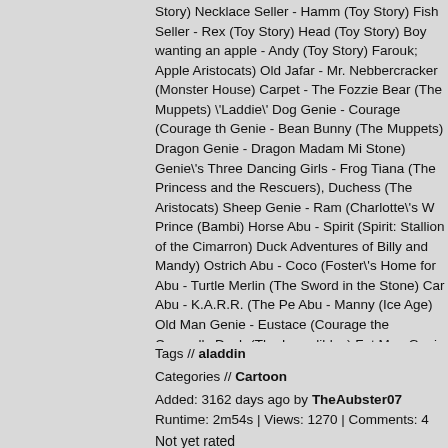Story) Necklace Seller - Hamm (Toy Story) Fish Seller - Rex (Toy Story) Head (Toy Story) Boy wanting an apple - Andy (Toy Story) Farouk; Apple Aristocats) Old Jafar - Mr. Nebbercracker (Monster House) Carpet - The Fozzie Bear (The Muppets) \'Laddie\' Dog Genie - Courage (Courage th Genie - Bean Bunny (The Muppets) Dragon Genie - Dragon Madam Mi Stone) Genie\'s Three Dancing Girls - Frog Tiana (The Princess and the Rescuers), Duchess (The Aristocats) Sheep Genie - Ram (Charlotte\'s W Prince (Bambi) Horse Abu - Spirit (Spirit: Stallion of the Cimarron) Duck Adventures of Billy and Mandy) Ostrich Abu - Coco (Foster\'s Home for Abu - Turtle Merlin (The Sword in the Stone) Car Abu - K.A.R.R. (The Pe Abu - Manny (Ice Age) Old Man Genie - Eustace (Courage the Cowardly Dash (The Incredibles) Fat Man Genie - George Darling (Peter Pan) 75 (Dumbo) Genie as TV Parade Host Harry - Prince Phillip (Sleeping Bea - Crows (Dumbo) Genie as TV Parade Host June - Aurora (Sleeping Bea Mammals - themselves Leopard Genie - Bagheera (The Jungle Book) G Harem Genie - Nita (Brother Bear 2) 95 White Persian Monkeys - Monke 60 Elephants - themselves Llamas - themselves Bears and Lions - them themselves 40 Fakirs - themselves Cooks and Bakers - themselves Bird themselves Genie as Rodney Dangerfield - Winnie the Pooh Super-Spy Pooh) Teacher Genie - Rabbit (Winnie the Pooh) Table Lamp Genie - Pr (Thumbelina) Bee Genie - Manny (A Bug\'s Life) Submarine Genie - Lou Frog) One of Flamingos - Snipes (Rock-a-Doodle) Gigantic Genie - Lots Cub - Young Tod (The Fox and the Hound)
Tags // aladdin
Categories // Cartoon
Added: 3162 days ago by TheAubster07
Runtime: 2m54s | Views: 1270 | Comments: 4
Not yet rated